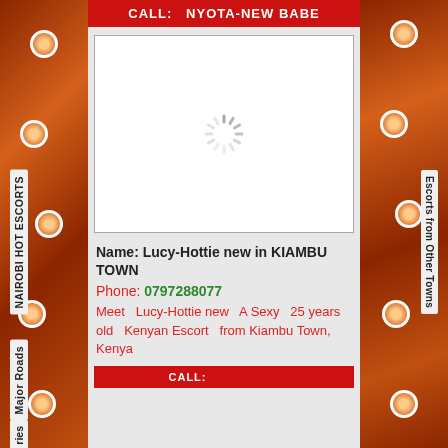CALL: NYOTA-NEW BABE
[Figure (photo): Loading spinner/placeholder image area for an escort listing photo]
Name: Lucy-Hottie new in KIAMBU TOWN
Phone: 0797288077
Meet  Lucy-Hottie new  A Sexy  25 years old  Kenyan Escort  from Kiambu Town, Kenya
CALL: ...